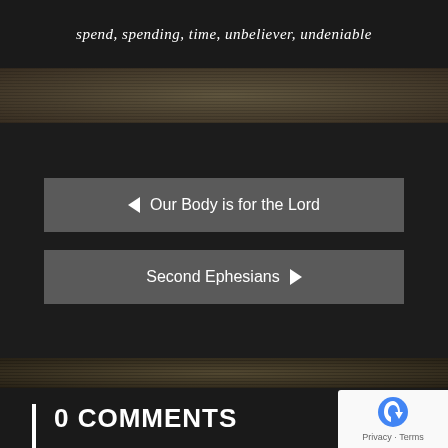spend, spending, time, unbeliever, undeniable
← Our Body is for the Lord
Second Ephesians →
0 COMMENTS
LEAVE A REPLY
Enter your comment here